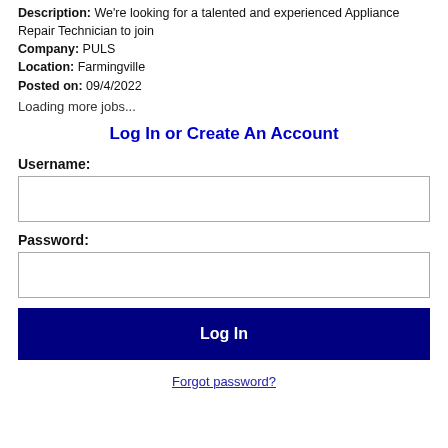Description: We're looking for a talented and experienced Appliance Repair Technician to join
Company: PULS
Location: Farmingville
Posted on: 09/4/2022
Loading more jobs...
Log In or Create An Account
Username:
Password:
Log In
Forgot password?